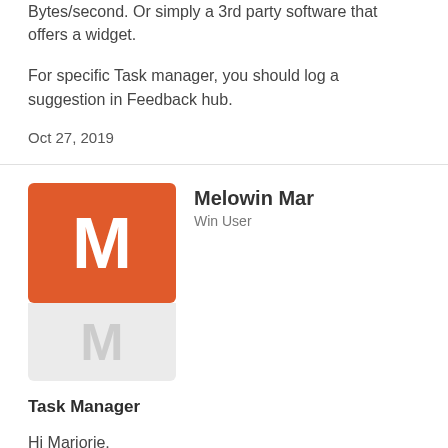Bytes/second. Or simply a 3rd party software that offers a widget.
For specific Task manager, you should log a suggestion in Feedback hub.
Oct 27, 2019
[Figure (illustration): User avatar for Melowin Mar — orange square with white 'M' on top, gray rectangle with light 'M' below]
Melowin Mar
Win User
Task Manager
Hi Marjorie,